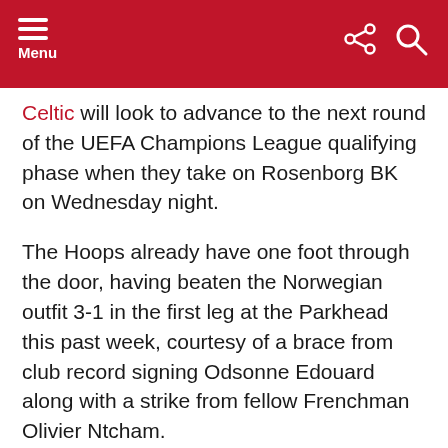Menu
Celtic will look to advance to the next round of the UEFA Champions League qualifying phase when they take on Rosenborg BK on Wednesday night.
The Hoops already have one foot through the door, having beaten the Norwegian outfit 3-1 in the first leg at the Parkhead this past week, courtesy of a brace from club record signing Odsonne Edouard along with a strike from fellow Frenchman Olivier Ntcham.
And manager Brendan Rodgers will be hoping that his side gets the job done on their visit to Trondheim this midweek. Ahead of the game, let’s take a look at how the Hoops might line up against their Norwegian